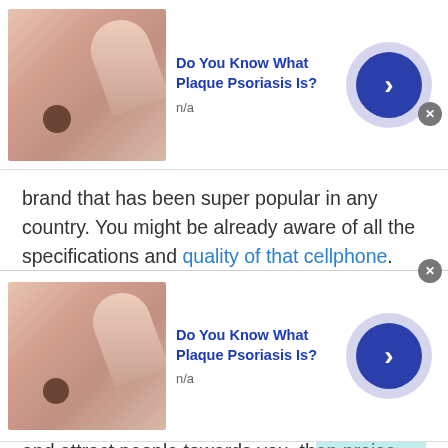[Figure (screenshot): Top advertisement banner: skin/hand image with mole, title 'Do You Know What Plaque Psoriasis Is?', subtitle 'n/a', blue arrow button, close X button]
brand that has been super popular in any country. You might be already aware of all the specifications and quality of that cellphone. Still, it is a best practice to chat with random people of Argentina and ask them about the brand quality.
7. Create a common ground:
If you want to chat with people of Argentina and attract people towards you, then praise what they
[Figure (screenshot): Bottom advertisement banner: skin/hand image with mole, title 'Do You Know What Plaque Psoriasis Is?', subtitle 'n/a', blue arrow button, close X button]